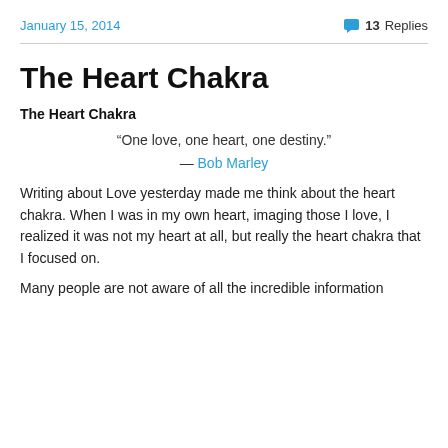January 15, 2014   💬 13 Replies
The Heart Chakra
The Heart Chakra
“One love, one heart, one destiny.”
— Bob Marley
Writing about Love yesterday made me think about the heart chakra. When I was in my own heart, imaging those I love, I realized it was not my heart at all, but really the heart chakra that I focused on.
Many people are not aware of all the incredible information